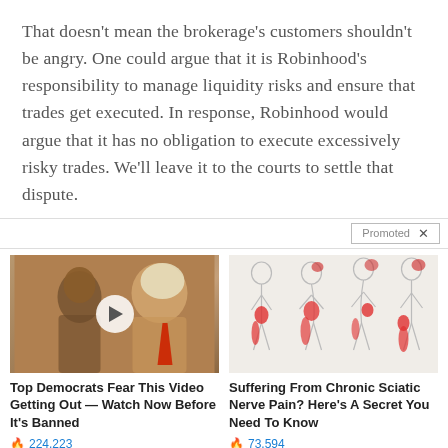That doesn't mean the brokerage's customers shouldn't be angry. One could argue that it is Robinhood's responsibility to manage liquidity risks and ensure that trades get executed. In response, Robinhood would argue that it has no obligation to execute excessively risky trades. We'll leave it to the courts to settle that dispute.
[Figure (other): Promoted ad banner with two ad items: 1) Video thumbnail of two people with play button, titled 'Top Democrats Fear This Video Getting Out — Watch Now Before It's Banned', 224,223 views. 2) Medical illustration of spine/sciatic nerve pain figures, titled 'Suffering From Chronic Sciatic Nerve Pain? Here's A Secret You Need To Know', 73,594 views.]